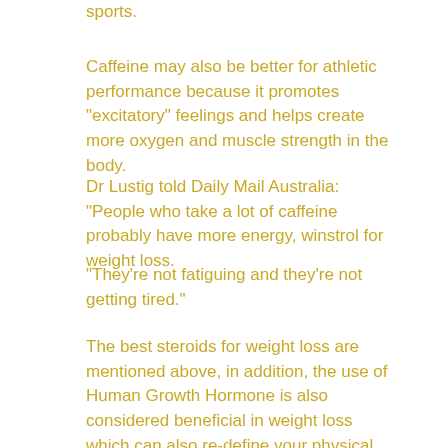sports.
Caffeine may also be better for athletic performance because it promotes "excitatory" feelings and helps create more oxygen and muscle strength in the body.
Dr Lustig told Daily Mail Australia: "People who take a lot of caffeine probably have more energy, winstrol for weight loss.
"They're not fatiguing and they're not getting tired."
The best steroids for weight loss are mentioned above, in addition, the use of Human Growth Hormone is also considered beneficial in weight loss which can also re-define your physical abilitiesand the type physique you want to attain.